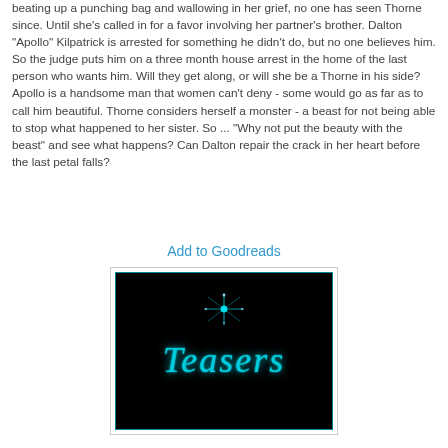beating up a punching bag and wallowing in her grief, no one has seen Thorne since. Until she's called in for a favor involving her partner's brother. Dalton "Apollo" Kilpatrick is arrested for something he didn't do, but no one believes him. So the judge puts him on a three month house arrest in the home of the last person who wants him. Will they get along, or will she be a Thorne in his side? Apollo is a handsome man that women can't deny - some would go as far as to call him beautiful. Thorne considers herself a monster - a beast for not being able to stop what happened to her sister. So ... "Why not put the beauty with the beast" and see what happens? Can Dalton repair the crack in her heart before the last petal falls?
Add to Goodreads
[Figure (illustration): A rectangular image with a black background and teal/cyan border, featuring a sparkle/star graphic at the top center and the word 'Teasers' written in a teal cursive/script font below it.]